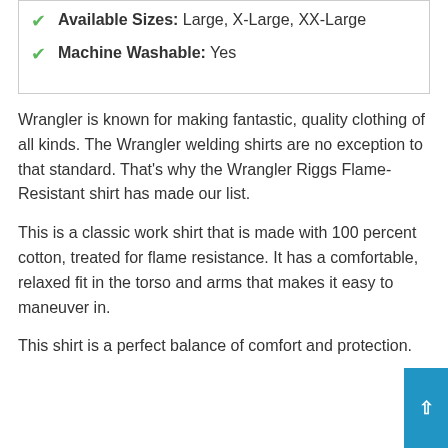Available Sizes: Large, X-Large, XX-Large
Machine Washable: Yes
Wrangler is known for making fantastic, quality clothing of all kinds. The Wrangler welding shirts are no exception to that standard. That's why the Wrangler Riggs Flame-Resistant shirt has made our list.
This is a classic work shirt that is made with 100 percent cotton, treated for flame resistance. It has a comfortable, relaxed fit in the torso and arms that makes it easy to maneuver in.
This shirt is a perfect balance of comfort and protection.